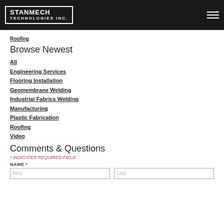STANMECH TECHNOLOGIES INC.
Roofing
Browse Newest
All
Engineering Services
Flooring Installation
Geomembrane Welding
Industrial Fabrics Welding
Manufacturing
Plastic Fabrication
Roofing
Video
Comments & Questions
* INDICATES REQUIRED FIELD
NAME *